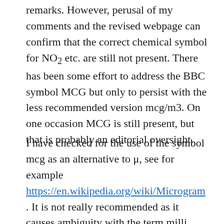remarks. However, perusal of my comments and the revised webpage can confirm that the correct chemical symbol for NO₂ etc. are still not present. There has been some effort to address the BBC symbol MCG but only to persist with the less recommended version mcg/m3. On one occasion MCG is still present, but that is probably an editorial oversight.
I have checked for the use of the symbol mcg as an alternative to μ, see for example https://en.wikipedia.org/wiki/Microgram . It is not really recommended as it causes ambiguity with the term milli centi gram, which is also nonstandard and would be 10 μg. Apparently mcg tends to be used by the USA and the UK